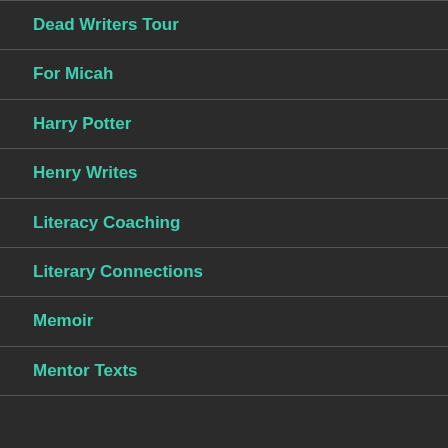Dead Writers Tour
For Micah
Harry Potter
Henry Writes
Literacy Coaching
Literary Connections
Memoir
Mentor Texts